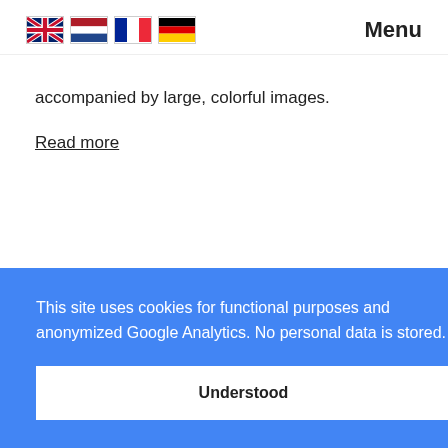Menu
accompanied by large, colorful images.
Read more
This site uses cookies for functional purposes and anonymized Google Analytics. No personal data is stored.
Understood